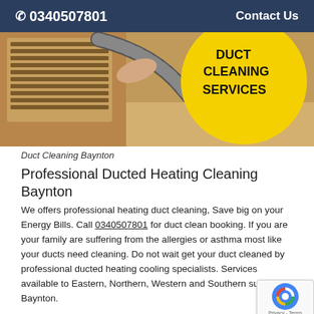☎ 0340507801    Contact Us
[Figure (photo): Photo of a person cleaning a floor duct with a vacuum hose. Yellow circle badge overlay reads 'DUCT CLEANING SERVICES' in bold black text.]
Duct Cleaning Baynton
Professional Ducted Heating Cleaning Baynton
We offers professional heating duct cleaning, Save big on your Energy Bills. Call 0340507801 for duct clean booking. If you are your family are suffering from the allergies or asthma most like your ducts need cleaning. Do not wait get your duct cleaned by professional ducted heating cooling specialists. Services available to Eastern, Northern, Western and Southern suburbs of Baynton.
1. Same Day Duct Cleaning Service